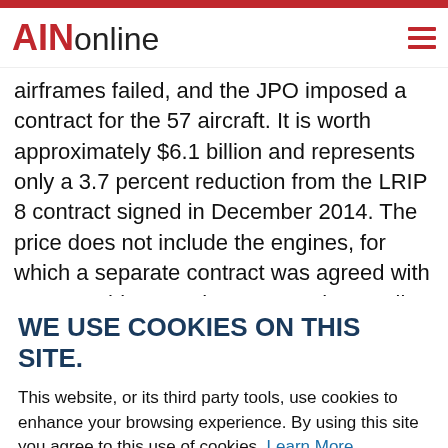AINonline
airframes failed, and the JPO imposed a contract for the 57 aircraft. It is worth approximately $6.1 billion and represents only a 3.7 percent reduction from the LRIP 8 contract signed in December 2014. The price does not include the engines, for which a separate contract was agreed with Pratt & Whitney as long ago as last April. The average unit cost for the LRIP 9 aircraft (42 F-35As plus 13 more costly STOVL F-35Bs and two of the most expensive
WE USE COOKIES ON THIS SITE.
This website, or its third party tools, use cookies to enhance your browsing experience. By using this site you agree to this use of cookies. Learn More
ACCEPT